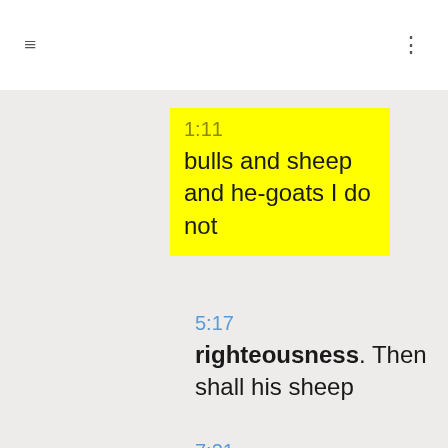≡  ⋮
1:11
bulls and sheep and he-goats I do not
5:17
righteousness. Then shall his sheep
7:21
young cow and a pair of sheep. And
7:25
sheep to tread down. Jehovah said to